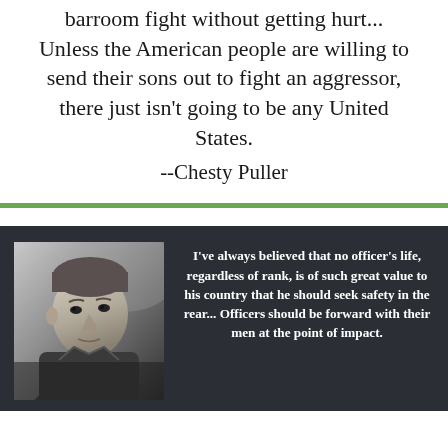barroom fight without getting hurt... Unless the American people are willing to send their sons out to fight an aggressor, there just isn't going to be any United States.
--Chesty Puller
[Figure (photo): Black and white portrait photograph of Chesty Puller, a military officer in uniform, looking slightly upward]
I've always believed that no officer's life, regardless of rank, is of such great value to his country that he should seek safety in the rear... Officers should be forward with their men at the point of impact.